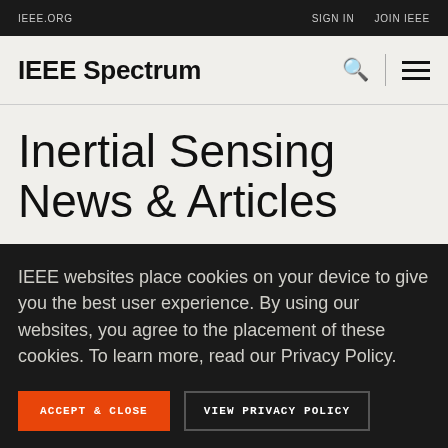IEEE.ORG    SIGN IN   JOIN IEEE
IEEE Spectrum
Inertial Sensing News & Articles
IEEE websites place cookies on your device to give you the best user experience. By using our websites, you agree to the placement of these cookies. To learn more, read our Privacy Policy.
ACCEPT & CLOSE   VIEW PRIVACY POLICY